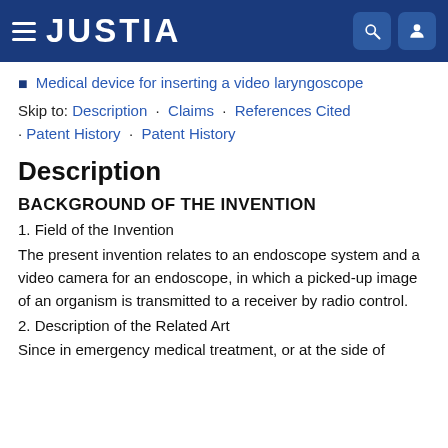JUSTIA
Medical device for inserting a video laryngoscope
Skip to: Description · Claims · References Cited · Patent History · Patent History
Description
BACKGROUND OF THE INVENTION
1. Field of the Invention
The present invention relates to an endoscope system and a video camera for an endoscope, in which a picked-up image of an organism is transmitted to a receiver by radio control.
2. Description of the Related Art
Since in emergency medical treatment, or at the side of